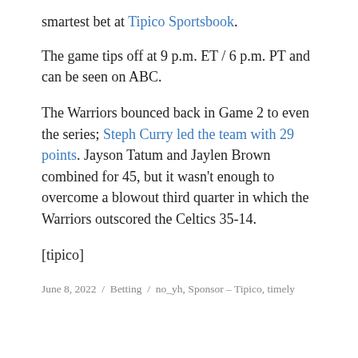smartest bet at Tipico Sportsbook.
The game tips off at 9 p.m. ET / 6 p.m. PT and can be seen on ABC.
The Warriors bounced back in Game 2 to even the series; Steph Curry led the team with 29 points. Jayson Tatum and Jaylen Brown combined for 45, but it wasn't enough to overcome a blowout third quarter in which the Warriors outscored the Celtics 35-14.
[tipico]
June 8, 2022  /  Betting  /  no_yh, Sponsor – Tipico, timely